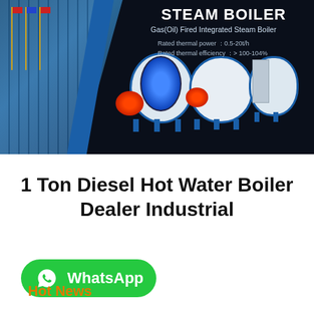[Figure (photo): Dark navy banner showing industrial steam boilers (Gas/Oil Fired Integrated Steam Boiler) on the right side, with a glass-facade building with flagpoles on the left. Text overlay reads STEAM BOILER with specs: Rated thermal power 0.5-20t/h, Rated thermal efficiency > 100-104%.]
1 Ton Diesel Hot Water Boiler Dealer Industrial
[Figure (logo): WhatsApp green rounded button with phone icon and text WhatsApp]
Hot News